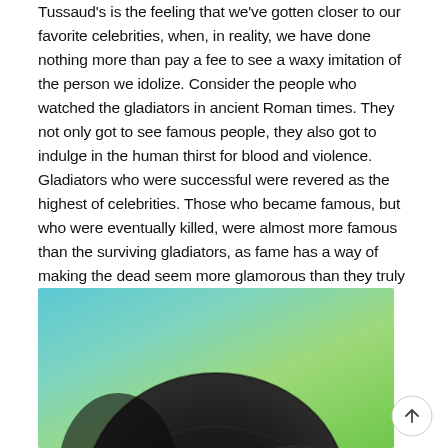Tussaud's is the feeling that we've gotten closer to our favorite celebrities, when, in reality, we have done nothing more than pay a fee to see a waxy imitation of the person we idolize. Consider the people who watched the gladiators in ancient Roman times. They not only got to see famous people, they also got to indulge in the human thirst for blood and violence. Gladiators who were successful were revered as the highest of celebrities. Those who became famous, but who were eventually killed, were almost more famous than the surviving gladiators, as fame has a way of making the dead seem more glamorous than they truly were.
[Figure (photo): Close-up photograph of the top of a person's head with dark black hair, against a colorful blurred background of blue, teal and green tones.]